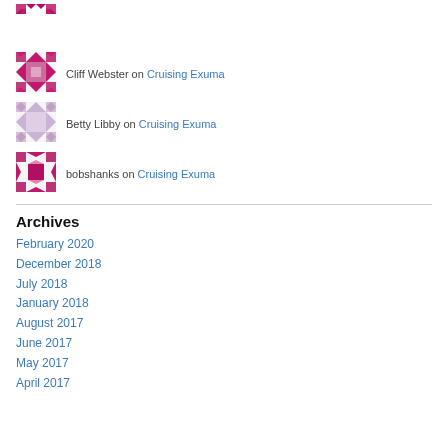[Figure (illustration): Small magenta/purple geometric pattern avatar (top, partial)]
Cliff Webster on Cruising Exuma
[Figure (illustration): Small light purple geometric pattern avatar for Cliff Webster]
Betty Libby on Cruising Exuma
[Figure (illustration): Small light lavender geometric pattern avatar for Betty Libby]
bobshanks on Cruising Exuma
[Figure (illustration): Small magenta geometric pattern avatar with center square for bobshanks]
Archives
February 2020
December 2018
July 2018
January 2018
August 2017
June 2017
May 2017
April 2017